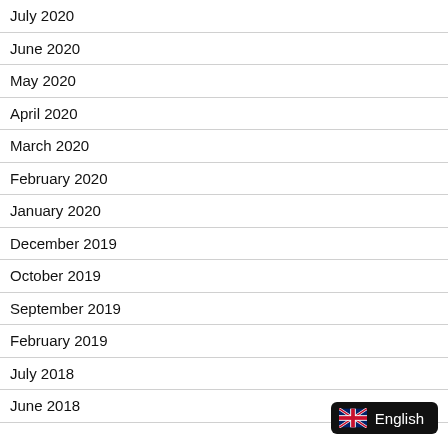July 2020
June 2020
May 2020
April 2020
March 2020
February 2020
January 2020
December 2019
October 2019
September 2019
February 2019
July 2018
June 2018